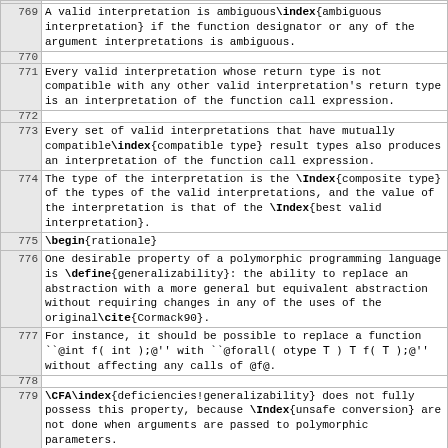| Line | Content |
| --- | --- |
| 769 | A valid interpretation is ambiguous\index{ambiguous interpretation} if the function designator or any of the argument interpretations is ambiguous. |
| 770 |  |
| 771 | Every valid interpretation whose return type is not compatible with any other valid interpretation's return type is an interpretation of the function call expression. |
| 772 |  |
| 773 | Every set of valid interpretations that have mutually compatible\index{compatible type} result types also produces an interpretation of the function call expression. |
| 774 | The type of the interpretation is the \Index{composite type} of the types of the valid interpretations, and the value of the interpretation is that of the \Index{best valid interpretation}. |
| 775 | \begin{rationale} |
| 776 | One desirable property of a polymorphic programming language is \define{generalizability}: the ability to replace an abstraction with a more general but equivalent abstraction without requiring changes in any of the uses of the original\cite{Cormack90}. |
| 777 | For instance, it should be possible to replace a function ``@int f( int );@'' with ``@forall( otype T ) T f( T );@'' without affecting any calls of @f@. |
| 778 |  |
| 779 | \CFA\index{deficiencies!generalizability} does not fully possess this property, because \Index{unsafe conversion} are not done when arguments are passed to polymorphic parameters. |
| 780 | Consider |
| 781 | \begin{lstlisting} |
| 782 | float g( float, float ); |
| 783 | int i; |